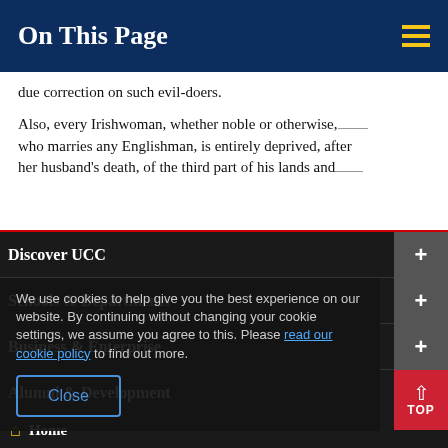On This Page
due correction on such evil-doers.
Also, every Irishwoman, whether noble or otherwise, who marries any Englishman, is entirely deprived, after her husband's death, of the third part of his lands and
Discover UCC
Schools & Departments
We use cookies to help give you the best experience on our website. By continuing without changing your cookie settings, we assume you agree to this. Please read our cookie policy to find out more.
Business & Enterprise
Alumni & Development
Close
Home